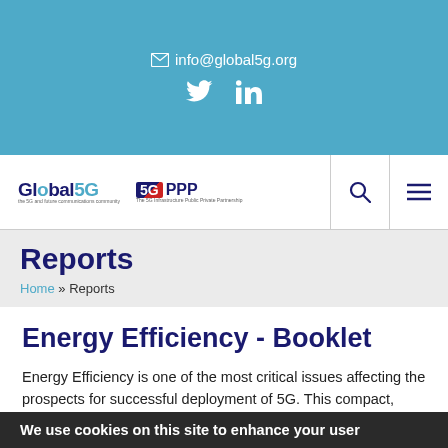info@global5g.org
[Figure (logo): Global5G and 5G PPP logos with navigation search and menu icons]
Reports
Home » Reports
Energy Efficiency - Booklet
Energy Efficiency is one of the most critical issues affecting the prospects for successful deployment of 5G. This compact, informative report begins by outlining the original requirements for 5G, both in terms of performance and energy efficiency. it
We use cookies on this site to enhance your user